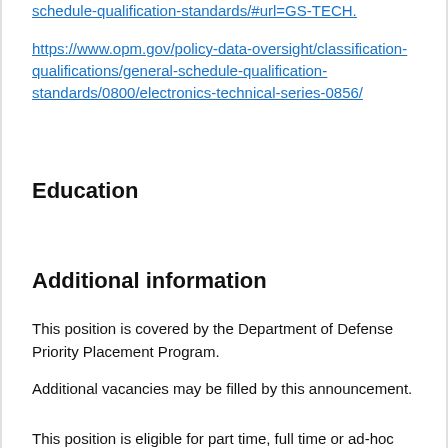schedule-qualification-standards/#url=GS-TECH.
https://www.opm.gov/policy-data-oversight/classification-qualifications/general-schedule-qualification-standards/0800/electronics-technical-series-0856/
Education
Additional information
This position is covered by the Department of Defense Priority Placement Program.
Additional vacancies may be filled by this announcement.
This position is eligible for part time, full time or ad-hoc